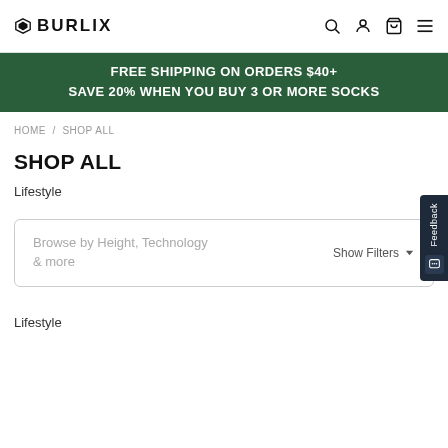BURLIX
FREE SHIPPING ON ORDERS $40+
SAVE 20% WHEN YOU BUY 3 OR MORE SOCKS
HOME / SHOP ALL
SHOP ALL
Lifestyle
Browse by Height, Technology & more  Show Filters
Lifestyle